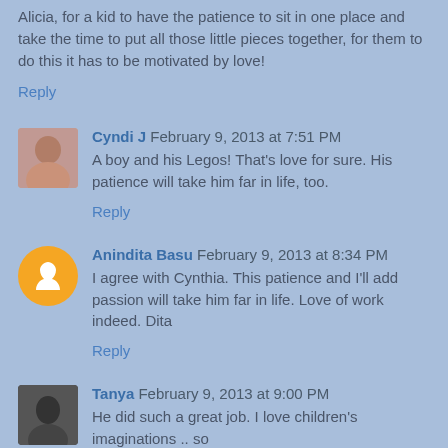Alicia, for a kid to have the patience to sit in one place and take the time to put all those little pieces together, for them to do this it has to be motivated by love!
Reply
Cyndi J  February 9, 2013 at 7:51 PM
A boy and his Legos! That's love for sure. His patience will take him far in life, too.
Reply
Anindita Basu  February 9, 2013 at 8:34 PM
I agree with Cynthia. This patience and I'll add passion will take him far in life. Love of work indeed. Dita
Reply
Tanya  February 9, 2013 at 9:00 PM
He did such a great job. I love children's imaginations .. so